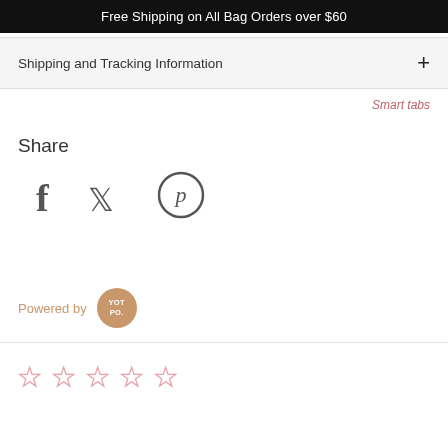Free Shipping on All Bag Orders over $60
Shipping and Tracking Information
Smart tabs
Share
[Figure (illustration): Social share icons: Facebook (f), Twitter (bird), Pinterest (P circle)]
Powered by YOTPO
[Figure (other): Five empty star rating icons in pink/rose color]